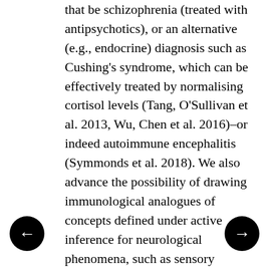that be schizophrenia (treated with antipsychotics), or an alternative (e.g., endocrine) diagnosis such as Cushing's syndrome, which can be effectively treated by normalising cortisol levels (Tang, O'Sullivan et al. 2013, Wu, Chen et al. 2016)–or indeed autoimmune encephalitis (Symmonds et al. 2018). We also advance the possibility of drawing immunological analogues of concepts defined under active inference for neurological phenomena, such as sensory attenuation. Finally, we introduce the novel concept of neuroimmunological diaschisis and the possibility of a diaschisis of threat-avoidance that may contribute to the overlap between psychiatric disorders and immunological hypersensitivities. This kind of overlap leads to clear empirical predictions;